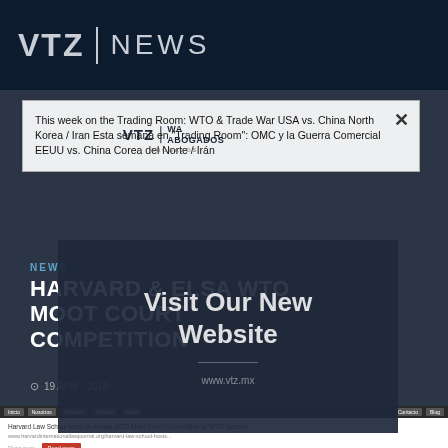VTZ | NEWS
This week on the Trading Room: WTO & Trade War USA vs. China North Korea / Iran Esta semana en "Trading Room": OMC y la Guerra Comercial EEUU vs. China Corea del Norte / Irán
NEWS
HARVARD & ELSA WTO MOOT COURT COMPETITION
19 APR , 2018
[Figure (screenshot): Modal overlay with text 'Visit Our New Website' and URL www.vtz.mx over darkened background]
[Figure (screenshot): Bottom portion showing a website screenshot with navigation bar and article preview about Harvard Law School WTO Moot Court Competition]